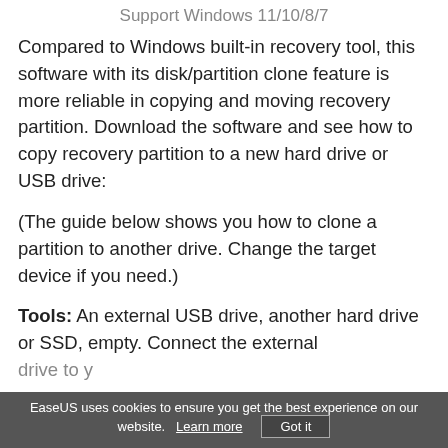Support Windows 11/10/8/7
Compared to Windows built-in recovery tool, this software with its disk/partition clone feature is more reliable in copying and moving recovery partition. Download the software and see how to copy recovery partition to a new hard drive or USB drive:
(The guide below shows you how to clone a partition to another drive. Change the target device if you need.)
Tools: An external USB drive, another hard drive or SSD, empty. Connect the external drive to y…
EaseUS uses cookies to ensure you get the best experience on our website.   Learn more   Got it